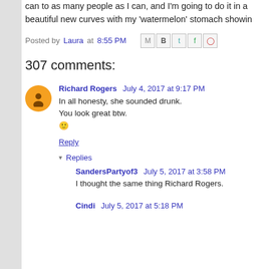can to as many people as I can, and I'm going to do it in a beautiful new curves with my 'watermelon' stomach showin
Posted by Laura at 8:55 PM
307 comments:
Richard Rogers  July 4, 2017 at 9:17 PM
In all honesty, she sounded drunk.
You look great btw.
🙂
Reply
Replies
SandersPartyof3  July 5, 2017 at 3:58 PM
I thought the same thing Richard Rogers.
Cindi  July 5, 2017 at 5:18 PM